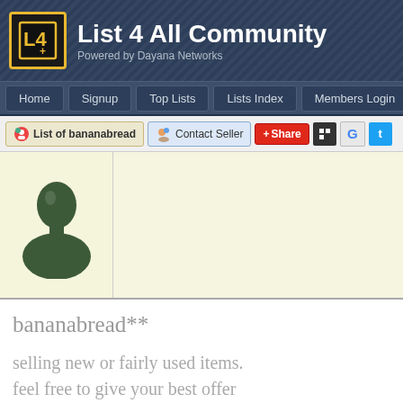List 4 All Community — Powered by Dayana Networks
Home | Signup | Top Lists | Lists Index | Members Login
List of bananabread | Contact Seller | + Share
[Figure (illustration): Generic green user avatar silhouette icon on a light yellow background]
bananabread**
selling new or fairly used items.
feel free to give your best offer
contact seller or send all interests to peachdri